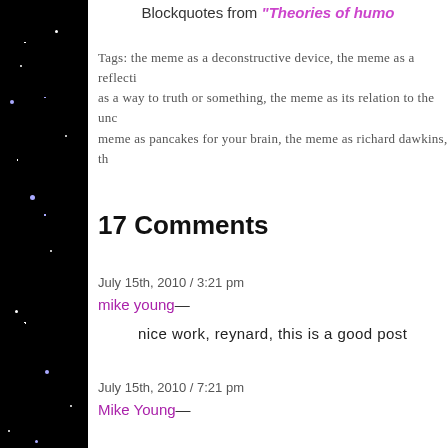Blockquotes from "Theories of humo..."
Tags: the meme as a deconstructive device, the meme as a reflecti... as a way to truth or something, the meme as its relation to the unco... meme as pancakes for your brain, the meme as richard dawkins, th...
17 Comments
July 15th, 2010 / 3:21 pm
mike young—
nice work, reynard, this is a good post
July 15th, 2010 / 7:21 pm
Mike Young—